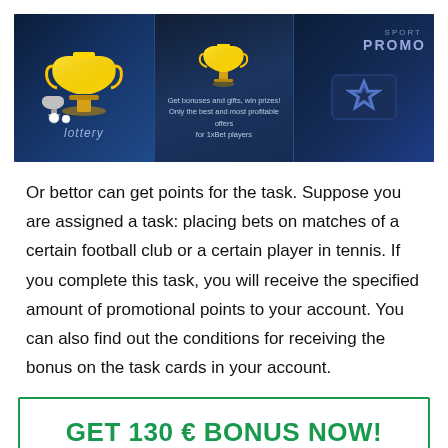[Figure (illustration): Three-panel promotional banner: left panel shows lottery theme with trophies on dark blue background, center panel shows a golden trophy with promotional text overlay, right panel shows a sport promo card with star emblem on dark blue background.]
Or bettor can get points for the task. Suppose you are assigned a task: placing bets on matches of a certain football club or a certain player in tennis. If you complete this task, you will receive the specified amount of promotional points to your account. You can also find out the conditions for receiving the bonus on the task cards in your account.
GET 130 € BONUS NOW!
1xBet promo code for registration: benefits